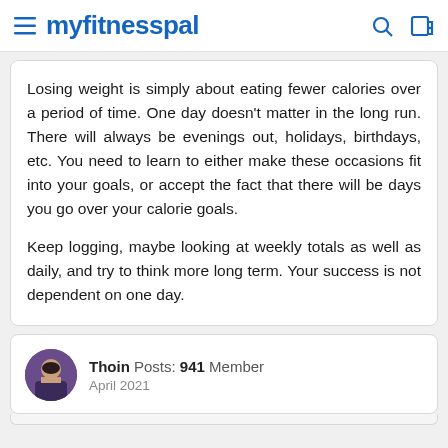myfitnesspal
Losing weight is simply about eating fewer calories over a period of time. One day doesn't matter in the long run. There will always be evenings out, holidays, birthdays, etc. You need to learn to either make these occasions fit into your goals, or accept the fact that there will be days you go over your calorie goals.

Keep logging, maybe looking at weekly totals as well as daily, and try to think more long term. Your success is not dependent on one day.
Thoin  Posts: 941  Member
April 2021